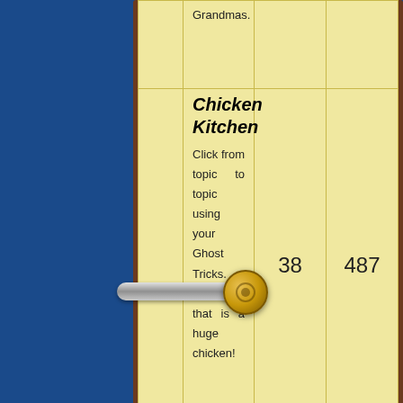|  | Topic | Posts | Replies |
| --- | --- | --- | --- |
|  | Grandmas. |  |  |
|  | Chicken Kitchen
Click from topic to topic using your Ghost Tricks. Good lord that is a huge chicken! | 38 | 487 |
Delete all board cookies | The team
Board index
Who is online
In total there are 87 users online :: 6 registered, 0 hidden and 81 guests (based on users active over